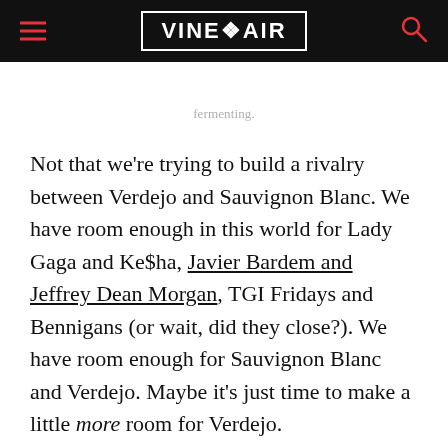VINEPAIR
fermenting.
Not that we're trying to build a rivalry between Verdejo and Sauvignon Blanc. We have room enough in this world for Lady Gaga and Ke$ha, Javier Bardem and Jeffrey Dean Morgan, TGI Fridays and Bennigans (or wait, did they close?). We have room enough for Sauvignon Blanc and Verdejo. Maybe it's just time to make a little more room for Verdejo.